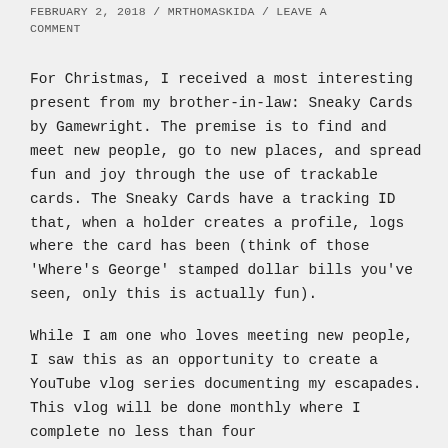FEBRUARY 2, 2018 / MRTHOMASKIDA / LEAVE A COMMENT
For Christmas, I received a most interesting present from my brother-in-law: Sneaky Cards by Gamewright. The premise is to find and meet new people, go to new places, and spread fun and joy through the use of trackable cards. The Sneaky Cards have a tracking ID that, when a holder creates a profile, logs where the card has been (think of those 'Where's George' stamped dollar bills you've seen, only this is actually fun).
While I am one who loves meeting new people, I saw this as an opportunity to create a YouTube vlog series documenting my escapades. This vlog will be done monthly where I complete no less than four